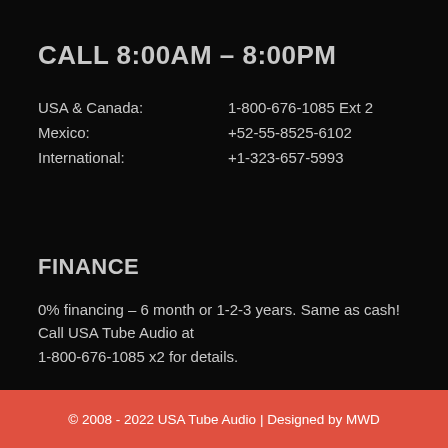CALL 8:00AM – 8:00PM
| USA & Canada: | 1-800-676-1085 Ext 2 |
| Mexico: | +52-55-8525-6102 |
| International: | +1-323-657-5993 |
FINANCE
0% financing – 6 month or 1-2-3 years. Same as cash! Call USA Tube Audio at 1-800-676-1085 x2 for details.
© 2008 - 2022 USA Tube Audio | Designed by MWD